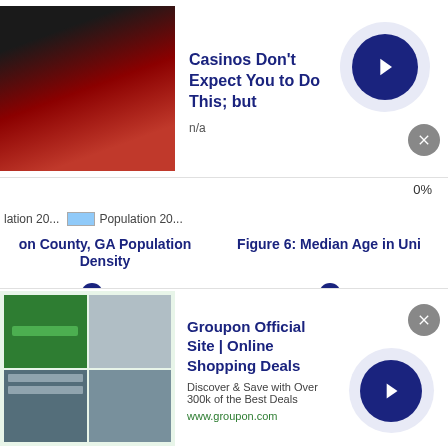[Figure (screenshot): Advertisement banner: 'Casinos Don't Expect You to Do This; but' with photo of person, n/a text, blue arrow button and gray close button]
0%
lation 20...   Population 20...
on County, GA Population Density
Figure 6: Median Age in Uni
[Figure (bar-chart): on County, GA Population Density]
[Figure (bar-chart): Figure 6: Median Age in Uni]
[Figure (screenshot): Advertisement: Groupon Official Site | Online Shopping Deals - Discover & Save with Over 300k of the Best Deals - www.groupon.com]